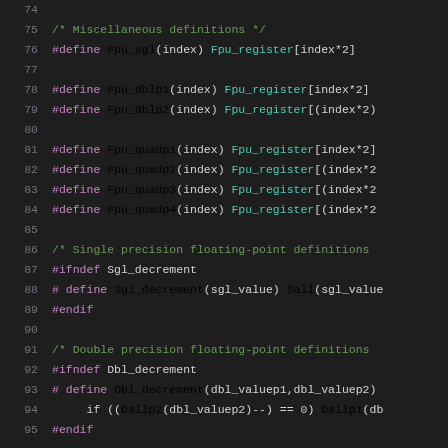74  (blank)
75  /* Miscellaneous definitions */
76  #define Fpu_sgl(index) Fpu_register[index*2]
77  (blank)
78  #define Fpu_dblp1(index) Fpu_register[index*2]
79  #define Fpu_dblp2(index) Fpu_register[(index*2)
80  (blank)
81  #define Fpu_quadp1(index) Fpu_register[index*2]
82  #define Fpu_quadp2(index) Fpu_register[(index*2
83  #define Fpu_quadp3(index) Fpu_register[(index*2
84  #define Fpu_quadp4(index) Fpu_register[(index*2
85  (blank)
86  /* Single precision floating-point definitions
87  #ifndef Sgl_decrement
88  # define Sgl_decrement(sgl_value) Sall(sgl_value
89  #endif
90  (blank)
91  /* Double precision floating-point definitions
92  #ifndef Dbl_decrement
93  # define Dbl_decrement(dbl_valuep1,dbl_valuep2)
94       if ((Dallp2(dbl_valuep2)--) == 0) Dallp1(db
95  #endif